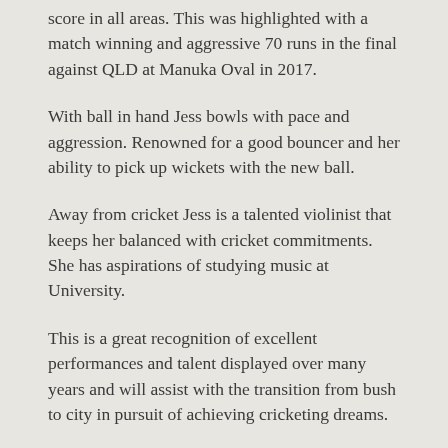score in all areas. This was highlighted with a match winning and aggressive 70 runs in the final against QLD at Manuka Oval in 2017.
With ball in hand Jess bowls with pace and aggression. Renowned for a good bouncer and her ability to pick up wickets with the new ball.
Away from cricket Jess is a talented violinist that keeps her balanced with cricket commitments. She has aspirations of studying music at University.
This is a great recognition of excellent performances and talent displayed over many years and will assist with the transition from bush to city in pursuit of achieving cricketing dreams.
This is Jess’ second Basil Sellers Scholarship.